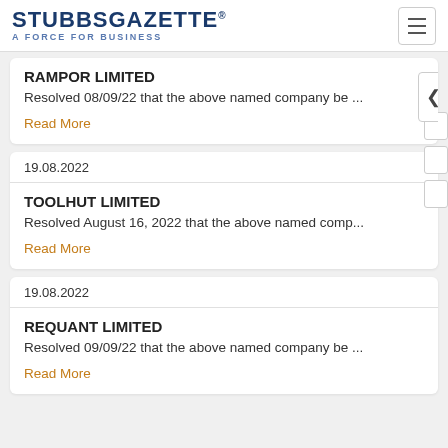STUBBS GAZETTE® A FORCE FOR BUSINESS
RAMPOR LIMITED
Resolved 08/09/22 that the above named company be ...
Read More
19.08.2022
TOOLHUT LIMITED
Resolved August 16, 2022 that the above named comp...
Read More
19.08.2022
REQUANT LIMITED
Resolved 09/09/22 that the above named company be ...
Read More